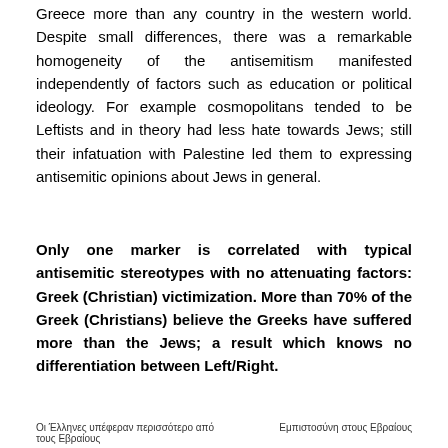Greece more than any country in the western world. Despite small differences, there was a remarkable homogeneity of the antisemitism manifested independently of factors such as education or political ideology. For example cosmopolitans tended to be Leftists and in theory had less hate towards Jews; still their infatuation with Palestine led them to expressing antisemitic opinions about Jews in general.
Only one marker is correlated with typical antisemitic stereotypes with no attenuating factors: Greek (Christian) victimization. More than 70% of the Greek (Christians) believe the Greeks have suffered more than the Jews; a result which knows no differentiation between Left/Right.
Οι Έλληνες υπέφεραν περισσότερο από τους Εβραίους    Εμπιστοσύνη στους Εβραίους